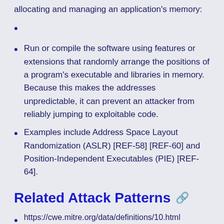allocating and managing an application's memory:
Run or compile the software using features or extensions that randomly arrange the positions of a program's executable and libraries in memory. Because this makes the addresses unpredictable, it can prevent an attacker from reliably jumping to exploitable code.
Examples include Address Space Layout Randomization (ASLR) [REF-58] [REF-60] and Position-Independent Executables (PIE) [REF-64].
Related Attack Patterns
https://cwe.mitre.org/data/definitions/10.html